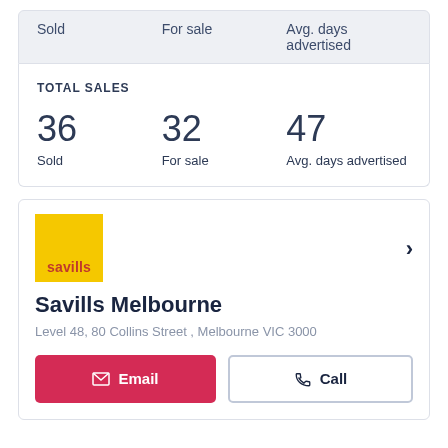| Sold | For sale | Avg. days advertised |
| --- | --- | --- |
TOTAL SALES
36 Sold | 32 For sale | 47 Avg. days advertised
[Figure (logo): Savills yellow square logo with red text]
Savills Melbourne
Level 48, 80 Collins Street , Melbourne VIC 3000
Email | Call